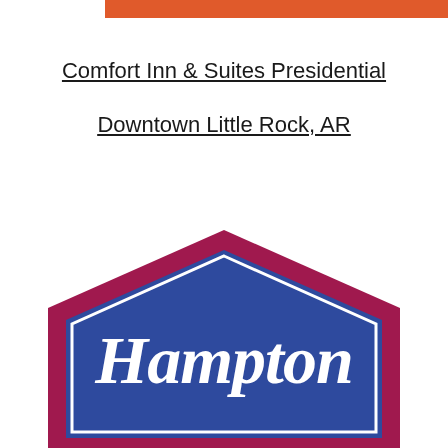[Figure (other): Orange horizontal bar across the top of the page]
Comfort Inn & Suites Presidential
Downtown Little Rock, AR
[Figure (logo): Hampton Inn logo — hexagonal badge shape with dark blue interior, crimson/maroon border, and white cursive 'Hampton' text]